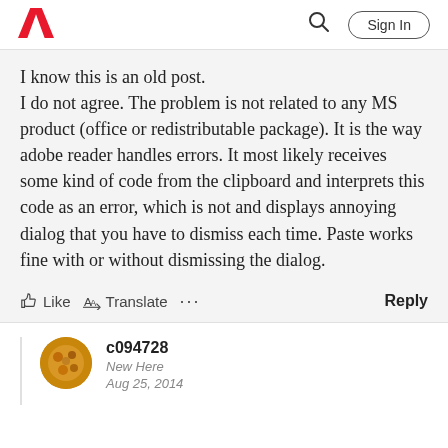Adobe | Sign In
I know this is an old post.
I do not agree. The problem is not related to any MS product (office or redistributable package). It is the way adobe reader handles errors. It most likely receives some kind of code from the clipboard and interprets this code as an error, which is not and displays annoying dialog that you have to dismiss each time. Paste works fine with or without dismissing the dialog.
Like  Translate  ...  Reply
c094728
New Here
Aug 25, 2014